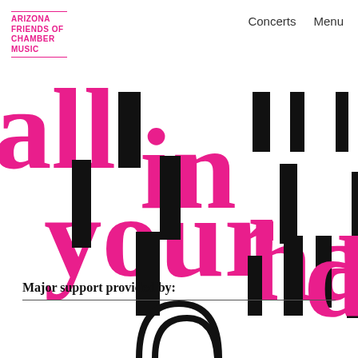ARIZONA FRIENDS OF CHAMBER MUSIC | Concerts  Menu
[Figure (illustration): Large decorative typographic art with overlapping large letters in hot pink and black forming the words 'all in your hands' in a fragmented, layered graphic style]
Major support provided by:
[Figure (logo): Partial black curved logo mark visible at the bottom of the page]